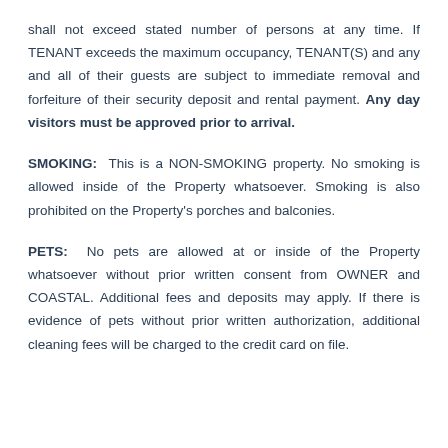shall not exceed stated number of persons at any time. If TENANT exceeds the maximum occupancy, TENANT(S) and any and all of their guests are subject to immediate removal and forfeiture of their security deposit and rental payment. Any day visitors must be approved prior to arrival.
SMOKING: This is a NON-SMOKING property. No smoking is allowed inside of the Property whatsoever. Smoking is also prohibited on the Property's porches and balconies.
PETS: No pets are allowed at or inside of the Property whatsoever without prior written consent from OWNER and COASTAL. Additional fees and deposits may apply. If there is evidence of pets without prior written authorization, additional cleaning fees will be charged to the credit card on file.